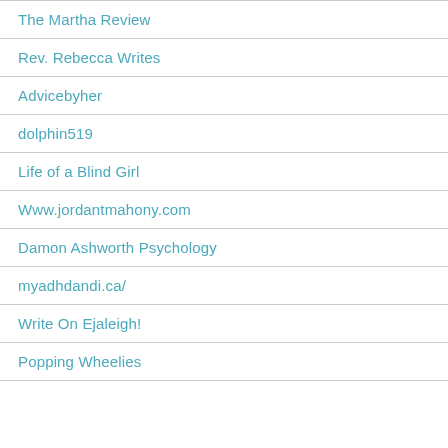The Martha Review
Rev. Rebecca Writes
Advicebyher
dolphin519
Life of a Blind Girl
Www.jordantmahony.com
Damon Ashworth Psychology
myadhdandi.ca/
Write On Ejaleigh!
Popping Wheelies